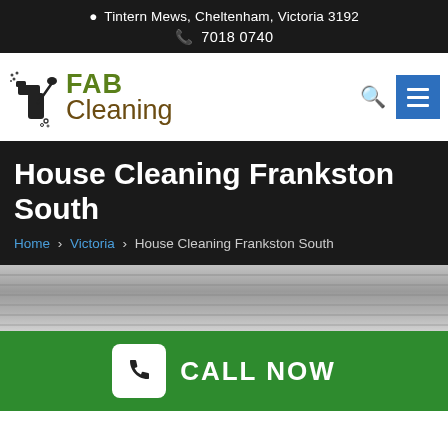📍 Tintern Mews, Cheltenham, Victoria 3192 | 📞 7018 0740
[Figure (logo): FAB Cleaning company logo with cleaning spray bottle icon. 'FAB' in green bold text, 'Cleaning' in brown text below.]
House Cleaning Frankston South
Home > Victoria > House Cleaning Frankston South
[Figure (photo): Gray toned background image, appears to be exterior building surface or blinds]
CALL NOW